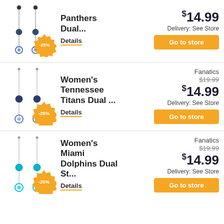[Figure (illustration): Panthers dual earrings product image with -25% badge]
Panthers Dual...
Details
$14.99
Delivery: See Store
Go to store
[Figure (illustration): Women's Tennessee Titans dual earrings product image with -25% badge]
Women's Tennessee Titans Dual ...
Details
Fanatics
$19.99
$14.99
Delivery: See Store
Go to store
[Figure (illustration): Women's Miami Dolphins dual earrings product image with -25% badge]
Women's Miami Dolphins Dual St...
Details
Fanatics
$19.99
$14.99
Delivery: See Store
Go to store